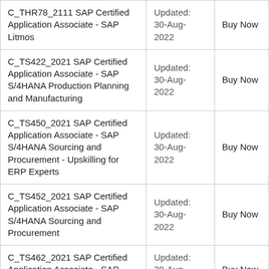| C_THR78_2111 SAP Certified Application Associate - SAP Litmos | Updated: 30-Aug-2022 | Buy Now |
| C_TS422_2021 SAP Certified Application Associate - SAP S/4HANA Production Planning and Manufacturing | Updated: 30-Aug-2022 | Buy Now |
| C_TS450_2021 SAP Certified Application Associate - SAP S/4HANA Sourcing and Procurement - Upskilling for ERP Experts | Updated: 30-Aug-2022 | Buy Now |
| C_TS452_2021 SAP Certified Application Associate - SAP S/4HANA Sourcing and Procurement | Updated: 30-Aug-2022 | Buy Now |
| C_TS462_2021 SAP Certified Application Associate - SAP S/4HANA Sales 2021 | Updated: 30-Aug-2022 | Buy Now |
| C_S4CAM_2208 SAP Certified Application Associate - SAP | Updated: 30-Aug-... | Buy Now |